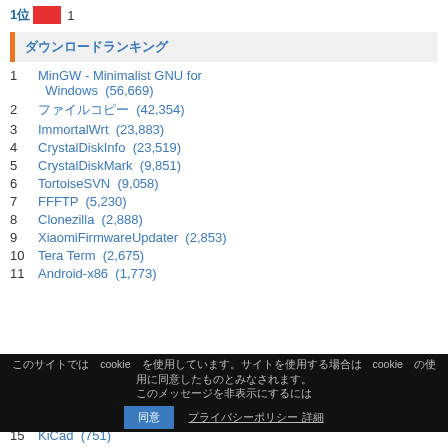1位  1
ダウンロードランキング
1  MinGW - Minimalist GNU for Windows (56,669)
2  ファイルコピー (42,354)
3  ImmortalWrt (23,883)
4  CrystalDiskInfo (23,519)
5  CrystalDiskMark (9,851)
6  TortoiseSVN (9,058)
7  FFFTP (5,230)
8  Clonezilla (2,888)
9  XiaomiFirmwareUpdater (2,853)
10  Tera Term (2,675)
11  Android-x86 (1,773)
このサイトでは cookie を使用しています。サイトを使用する場合は cookie の使用に同意したものとみなされます。
15  KiCad (751)